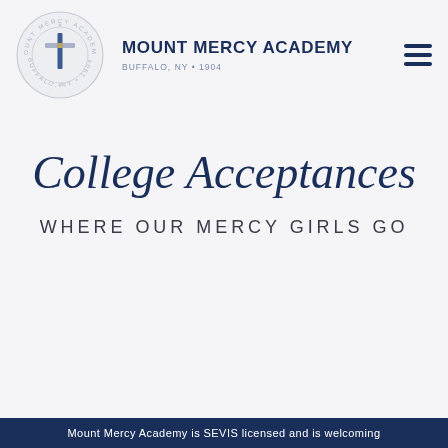[Figure (logo): Mount Mercy Academy circular seal logo with a cross in the center and text around the border reading MOUNT MERCY ACADEMY, BUFFALO, NY, 1904, with words SERVICE, EXCELLENCE, LEADERSHIP, VALUES]
MOUNT MERCY ACADEMY
BUFFALO, NY • 1904
College Acceptances
WHERE OUR MERCY GIRLS GO
Mount Mercy Academy is SEVIS licensed and is welcoming